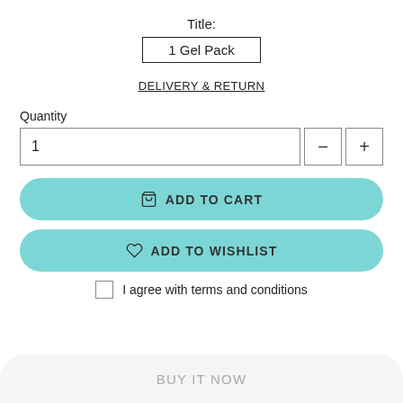Title:
1 Gel Pack
DELIVERY & RETURN
Quantity
1
ADD TO CART
ADD TO WISHLIST
I agree with terms and conditions
BUY IT NOW